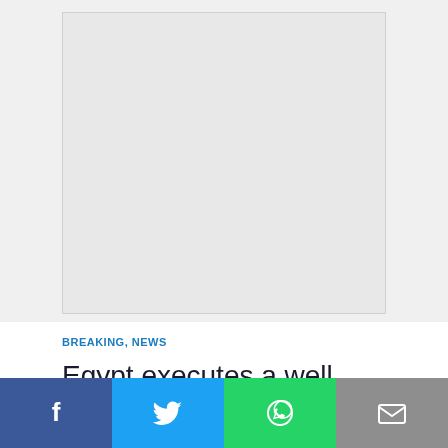[Figure (other): Advertisement placeholder block (grey box)]
BREAKING, NEWS
Egypt executes a well known Islamist fighter Habara
[Figure (other): Advertisement placeholder block (grey box)]
[Figure (other): Social sharing bar with Facebook, Twitter, WhatsApp, and Email buttons]